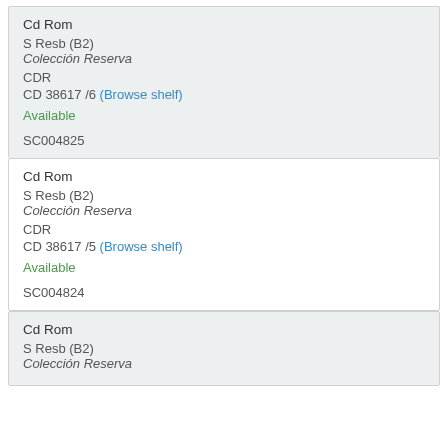Cd Rom
S Resb (B2)
Colección Reserva
CDR
CD 38617 /6 (Browse shelf)
Available
SC004825
Cd Rom
S Resb (B2)
Colección Reserva
CDR
CD 38617 /5 (Browse shelf)
Available
SC004824
Cd Rom
S Resb (B2)
Colección Reserva